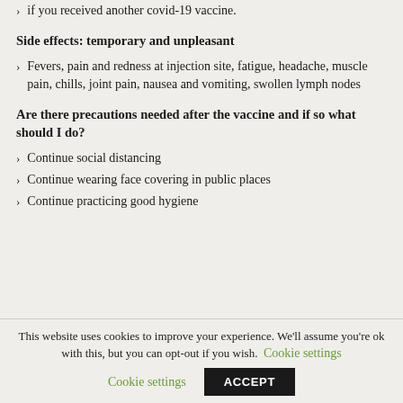if you received another covid-19 vaccine.
Side effects: temporary and unpleasant
Fevers, pain and redness at injection site, fatigue, headache, muscle pain, chills, joint pain, nausea and vomiting, swollen lymph nodes
Are there precautions needed after the vaccine and if so what should I do?
Continue social distancing
Continue wearing face covering in public places
Continue practicing good hygiene
This website uses cookies to improve your experience. We'll assume you're ok with this, but you can opt-out if you wish. Cookie settings ACCEPT